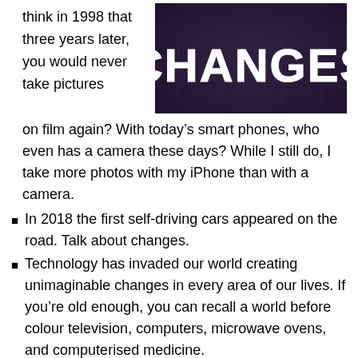think in 1998 that three years later, you would never take pictures
[Figure (photo): Dark background image with the word CHANGES in large white bold letters]
on film again? With today’s smart phones, who even has a camera these days? While I still do, I take more photos with my iPhone than with a camera.
In 2018 the first self-driving cars appeared on the road. Talk about changes.
Technology has invaded our world creating unimaginable changes in every area of our lives. If you’re old enough, you can recall a world before colour television, computers, microwave ovens, and computerised medicine.
I had my second knee replacement recently (Thanks